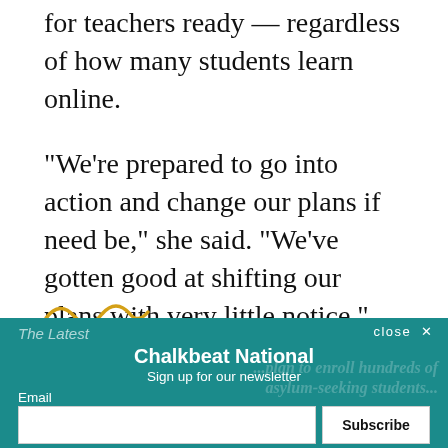for teachers ready — regardless of how many students learn online.
“We’re prepared to go into action and change our plans if need be,” she said. “We’ve gotten good at shifting our plans with very little notice.”
[Figure (illustration): Decorative squiggle/wave line in golden/yellow color]
The Latest
close ×
Chalkbeat National
Sign up for our newsletter
Email
Subscribe
By signing up, you agree to our Privacy Notice and European users agree to the data transfer policy.